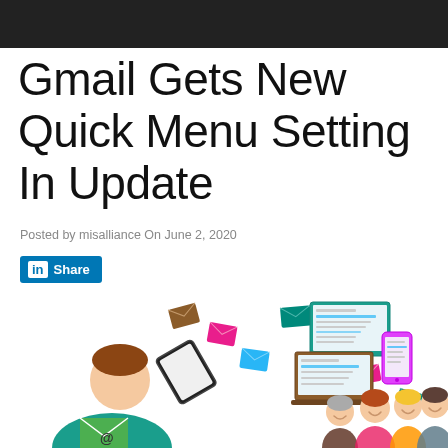Gmail Gets New Quick Menu Setting In Update
Posted by misalliance On June 2, 2020
[Figure (screenshot): LinkedIn Share button with blue background and white text]
[Figure (illustration): Colorful illustration of a person holding a tablet with envelopes flying around, devices showing emails, and a group of smiling people]